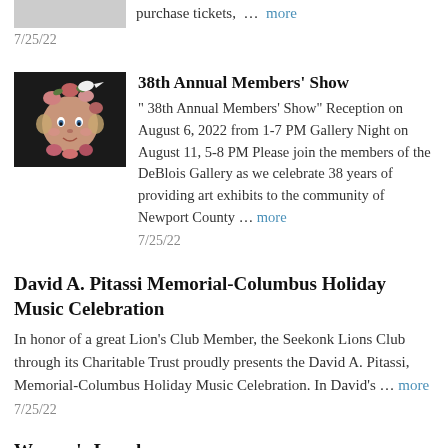purchase tickets, … more 7/25/22
[Figure (photo): Decorative ceramic face with flowers — art piece for the 38th Annual Members' Show]
38th Annual Members' Show
" 38th Annual Members' Show" Reception on August 6, 2022 from 1-7 PM Gallery Night on August 11, 5-8 PM Please join the members of the DeBlois Gallery as we celebrate 38 years of providing art exhibits to the community of Newport County … more
7/25/22
David A. Pitassi Memorial-Columbus Holiday Music Celebration
In honor of a great Lion's Club Member, the Seekonk Lions Club through its Charitable Trust proudly presents the David A. Pitassi, Memorial-Columbus Holiday Music Celebration. In David's … more
7/25/22
Women's Lunch
Starting in September the Women's Breakfast will be Women's Lunch.We will meet the 3rd Wednesday of the month at 11:30am still supporting our localresentments. September 14th at 11:30am …